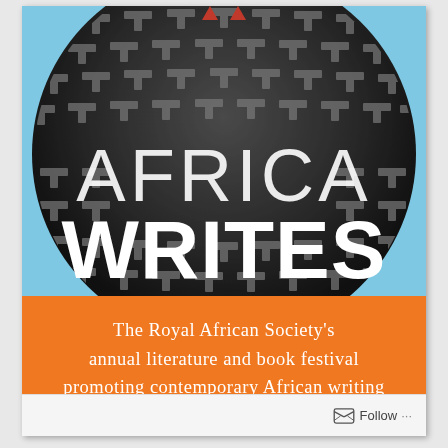[Figure (photo): A person wearing a black and grey geometric/maze-pattern garment, photographed from behind/above. The fabric features repeating T-shaped or cross-hatch patterns. Two red triangular shapes are visible at the top. Overlaid on the image are the words 'AFRICA' in large light-weight white letters and 'WRITES' in large bold white letters.]
The Royal African Society's annual literature and book festival promoting contemporary African writing
Follow